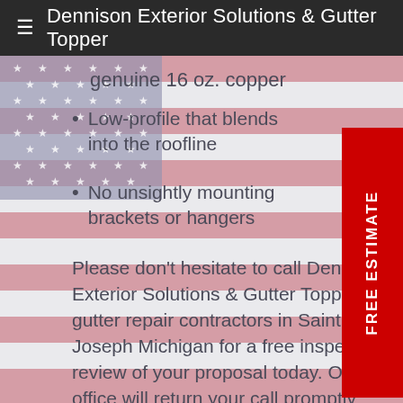Dennison Exterior Solutions & Gutter Topper
genuine 16 oz. copper
Low-profile that blends into the roofline
No unsightly mounting brackets or hangers
Please don’t hesitate to call Dennison Exterior Solutions & Gutter Topper as gutter repair contractors in Saint Joseph Michigan for a free inspection, review of your proposal today. Our office will return your call promptly and setup an appointment with you to inspect, measure and review your